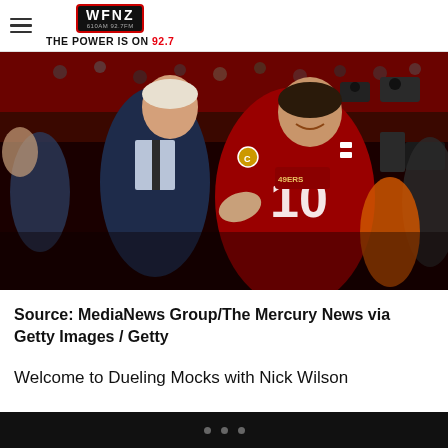WFNZ — THE POWER IS ON 92.7
[Figure (photo): Football celebration photo: A man in a dark suit congratulates a San Francisco 49ers quarterback wearing red jersey number 10 with a captain's C patch, on a crowded sideline with cameras and spectators in the background.]
Source: MediaNews Group/The Mercury News via Getty Images / Getty
Welcome to Dueling Mocks with Nick Wilson